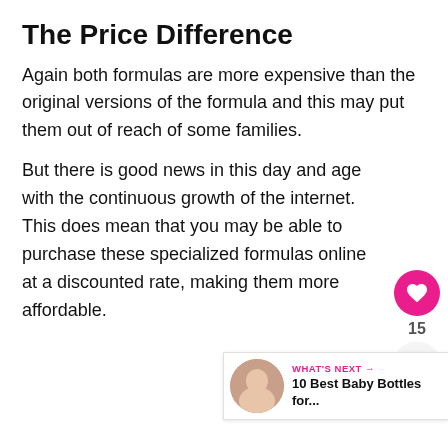The Price Difference
Again both formulas are more expensive than the original versions of the formula and this may put them out of reach of some families.
But there is good news in this day and age with the continuous growth of the internet. This does mean that you may be able to purchase these specialized formulas online at a discounted rate, making them more affordable.